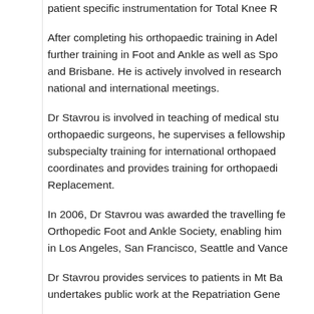patient specific instrumentation for Total Knee R...
After completing his orthopaedic training in Adel... further training in Foot and Ankle as well as Spo... and Brisbane. He is actively involved in research national and international meetings.
Dr Stavrou is involved in teaching of medical stu... orthopaedic surgeons, he supervises a fellowship subspecialty training for international orthopaed... coordinates and provides training for orthopaedi... Replacement.
In 2006, Dr Stavrou was awarded the travelling fe... Orthopedic Foot and Ankle Society, enabling him in Los Angeles, San Francisco, Seattle and Vanc...
Dr Stavrou provides services to patients in Mt Ba... undertakes public work at the Repatriation Gene...